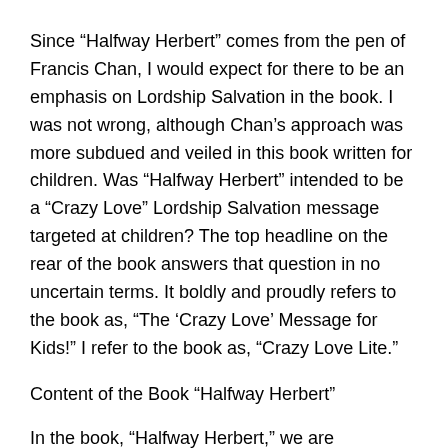Since “Halfway Herbert” comes from the pen of Francis Chan, I would expect for there to be an emphasis on Lordship Salvation in the book. I was not wrong, although Chan’s approach was more subdued and veiled in this book written for children. Was “Halfway Herbert” intended to be a “Crazy Love” Lordship Salvation message targeted at children? The top headline on the rear of the book answers that question in no uncertain terms. It boldly and proudly refers to the book as, “The ‘Crazy Love’ Message for Kids!” I refer to the book as, “Crazy Love Lite.”
Content of the Book “Halfway Herbert”
In the book, “Halfway Herbert,” we are introduced to a young boy who has quite a problem: he does everything halfway. He eats only half of his meals; he brushes only half of his teeth; he reads only half of his homework; he…